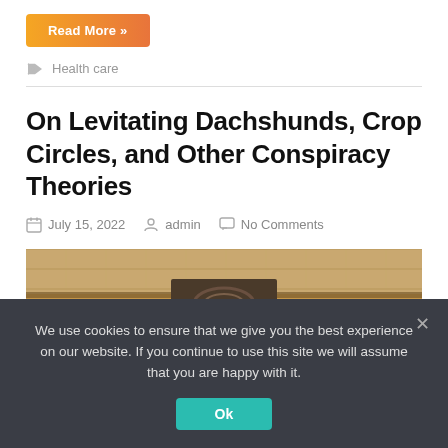Read More »
Health care
On Levitating Dachshunds, Crop Circles, and Other Conspiracy Theories
July 15, 2022  admin  No Comments
[Figure (photo): Stone architectural carving detail with decorative motifs on a sandy brick wall]
We use cookies to ensure that we give you the best experience on our website. If you continue to use this site we will assume that you are happy with it.
Ok